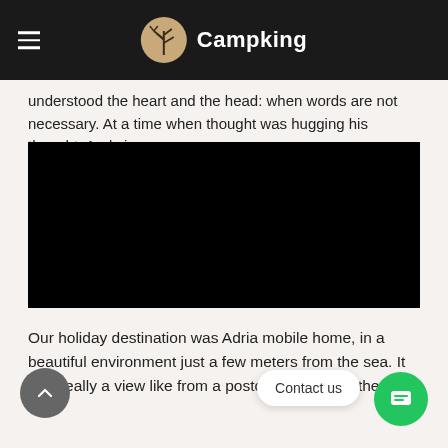Campking
understood the heart and the head: when words are not necessary. At a time when thought was hugging his thought. And vice-versa.
[Figure (screenshot): Black video player embed area]
Our holiday destination was Adria mobile home, in a beautiful environment just a few meters from the sea. It was really a view like from a postcard. Peace in the